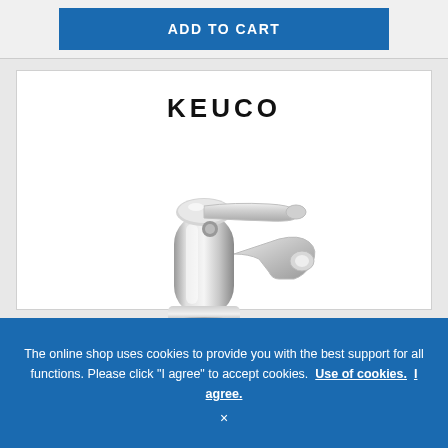ADD TO CART
[Figure (logo): KEUCO brand logo in bold black uppercase letters]
[Figure (photo): Chrome single lever basin mixer faucet XS-Size, Keuco Collection Moll, shown on white background]
Keuco Collection Moll - Single Lever Basin Mixer XS-Size without waste set...
The online shop uses cookies to provide you with the best support for all functions. Please click "I agree" to accept cookies. Use of cookies. I agree.